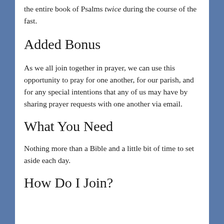the entire book of Psalms twice during the course of the fast.
Added Bonus
As we all join together in prayer, we can use this opportunity to pray for one another, for our parish, and for any special intentions that any of us may have by sharing prayer requests with one another via email.
What You Need
Nothing more than a Bible and a little bit of time to set aside each day.
How Do I Join?